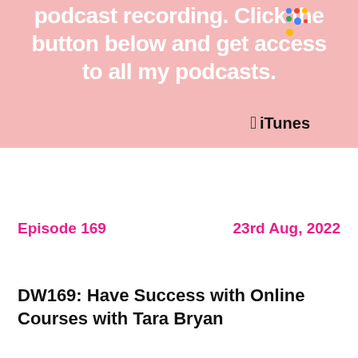[Figure (illustration): Pink banner with white bold text partially visible: 'podcast recording. Click the button below and get access to all my podcasts.' with Google Podcasts colored dots icon and iTunes logo with Apple icon on a pink background. A smartphone is partially visible on the right edge.]
Episode 169
23rd Aug, 2022
DW169: Have Success with Online Courses with Tara Bryan